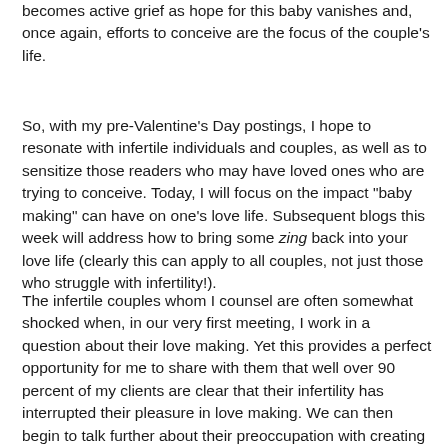becomes active grief as hope for this baby vanishes and, once again, efforts to conceive are the focus of the couple's life.
So, with my pre-Valentine's Day postings, I hope to resonate with infertile individuals and couples, as well as to sensitize those readers who may have loved ones who are trying to conceive. Today, I will focus on the impact "baby making" can have on one's love life. Subsequent blogs this week will address how to bring some zing back into your love life (clearly this can apply to all couples, not just those who struggle with infertility!).
The infertile couples whom I counsel are often somewhat shocked when, in our very first meeting, I work in a question about their love making. Yet this provides a perfect opportunity for me to share with them that well over 90 percent of my clients are clear that their infertility has interrupted their pleasure in love making. We can then begin to talk further about their preoccupation with creating a pregnancy, rather than enjoying sexual closeness and arousal as a way of heightening their emotional intimacy.